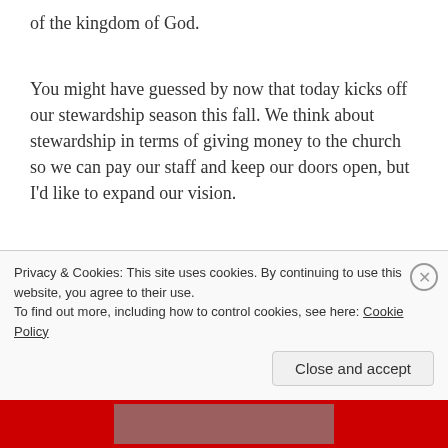of the kingdom of God.
You might have guessed by now that today kicks off our stewardship season this fall. We think about stewardship in terms of giving money to the church so we can pay our staff and keep our doors open, but I’d like to expand our vision.
God has given us this beautiful corner of the kingdom. As you are thinking about how can you give of your finances, your time, and your heart, I’d like you to day dream and pray about how God might be calling us to
Privacy & Cookies: This site uses cookies. By continuing to use this website, you agree to their use.
To find out more, including how to control cookies, see here: Cookie Policy
Close and accept